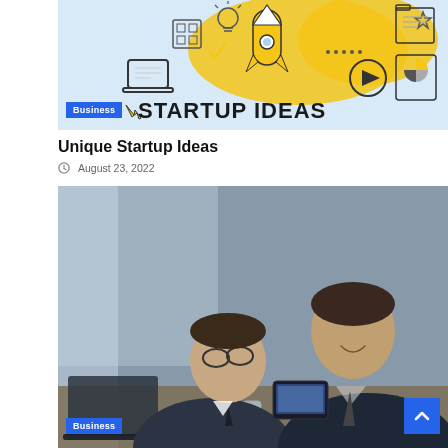[Figure (illustration): Startup ideas illustration banner with light blue background, showing rocket, laptop, icons, and yellow elements. 'Business' blue badge and 'STARTUP IDEAS' bold text overlay at bottom.]
Unique Startup Ideas
August 23, 2022
[Figure (photo): Two businessmen in suits looking at a tablet/phone together at a desk with a laptop and glass of water. A 'Business' badge is overlaid at the bottom left.]